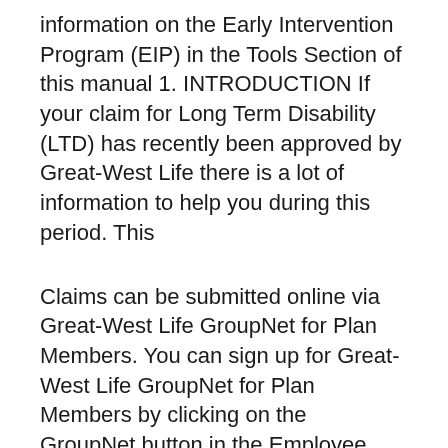information on the Early Intervention Program (EIP) in the Tools Section of this manual 1. INTRODUCTION If your claim for Long Term Disability (LTD) has recently been approved by Great-West Life there is a lot of information to help you during this period. This
Claims can be submitted online via Great-West Life GroupNet for Plan Members. You can sign up for Great-West Life GroupNet for Plan Members by clicking on the GroupNet button in the Employee Benefits section on 3sHealth.ca. You will require your plan #335663, and your benefit ID. Claims can also be submitted using a paper claim form. Reviews from Great West